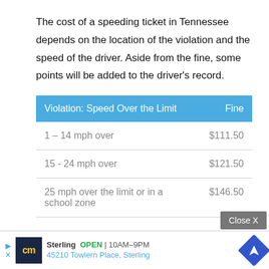The cost of a speeding ticket in Tennessee depends on the location of the violation and the speed of the driver. Aside from the fine, some points will be added to the driver's record.
| Violation: Speed Over the Limit | Fine |
| --- | --- |
| 1 – 14 mph over | $111.50 |
| 15 - 24 mph over | $121.50 |
| 25 mph over the limit or in a school zone | $146.50 |